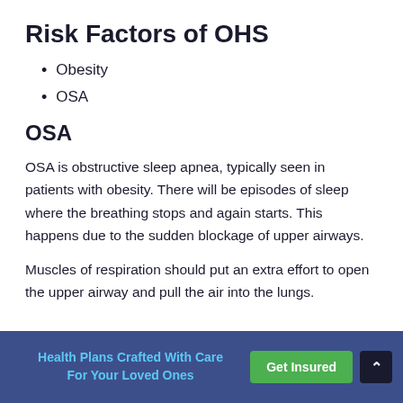Risk Factors of OHS
Obesity
OSA
OSA
OSA is obstructive sleep apnea, typically seen in patients with obesity. There will be episodes of sleep where the breathing stops and again starts. This happens due to the sudden blockage of upper airways.
Muscles of respiration should put an extra effort to open the upper airway and pull the air into the lungs.
Health Plans Crafted With Care For Your Loved Ones  Get Insured